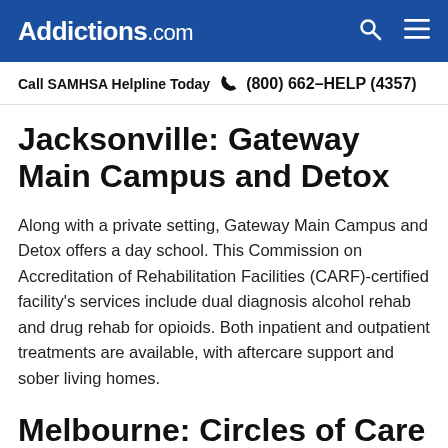Addictions.com
Call SAMHSA Helpline Today  (800) 662-HELP (4357)
Jacksonville: Gateway Main Campus and Detox
Along with a private setting, Gateway Main Campus and Detox offers a day school. This Commission on Accreditation of Rehabilitation Facilities (CARF)-certified facility's services include dual diagnosis alcohol rehab and drug rehab for opioids. Both inpatient and outpatient treatments are available, with aftercare support and sober living homes.
Melbourne: Circles of Care